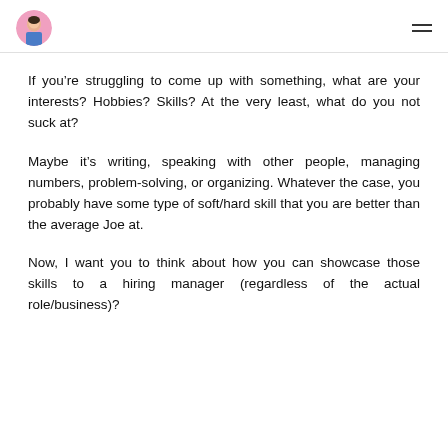If you’re struggling to come up with something, what are your interests? Hobbies? Skills? At the very least, what do you not suck at?
Maybe it’s writing, speaking with other people, managing numbers, problem-solving, or organizing. Whatever the case, you probably have some type of soft/hard skill that you are better than the average Joe at.
Now, I want you to think about how you can showcase those skills to a hiring manager (regardless of the actual role/business)?